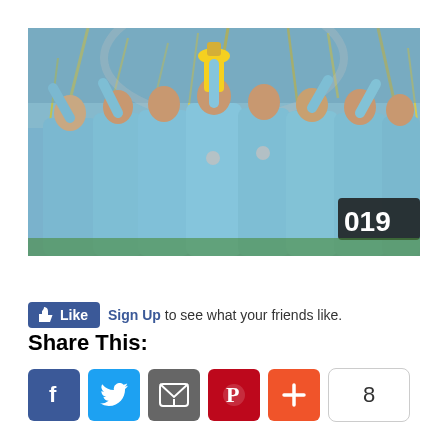[Figure (photo): England cricket team celebrating winning the 2019 Cricket World Cup, players in light blue uniforms raising trophy with gold confetti, '2019' visible on scoreboard in background]
Tweet
Like  Sign Up to see what your friends like.
Share This:
Social share buttons: Facebook, Twitter, Email, Pinterest, Plus, count: 8